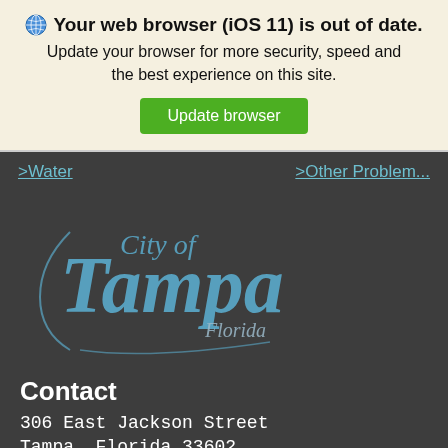Your web browser (iOS 11) is out of date. Update your browser for more security, speed and the best experience on this site.
Update browser
>Water
>Other Problem...
[Figure (logo): City of Tampa Florida logo in light blue script on dark background]
Contact
306 East Jackson Street
Tampa, Florida 33602
(813) 274-8211